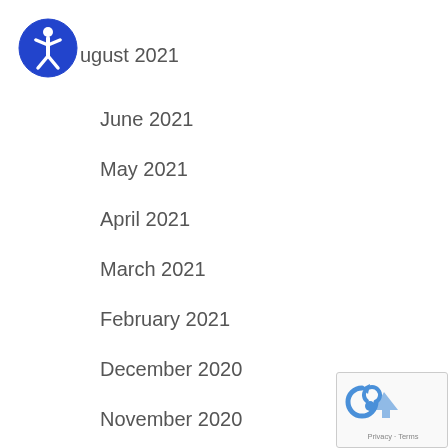[Figure (logo): Blue circular accessibility icon with a white human figure in the center]
August 2021
June 2021
May 2021
April 2021
March 2021
February 2021
December 2020
November 2020
September 2020
August 2020
June 2020
May 2020
[Figure (logo): Google reCAPTCHA badge with Privacy and Terms text]